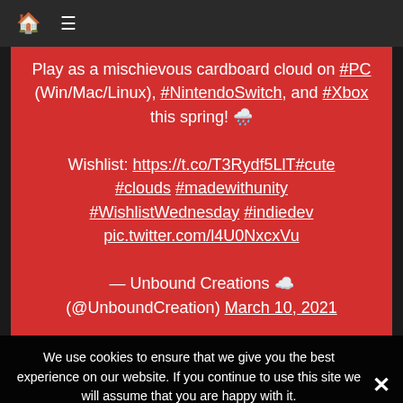🏠 ≡
Play as a mischievous cardboard cloud on #PC (Win/Mac/Linux), #NintendoSwitch, and #Xbox this spring! 🌧️

Wishlist: https://t.co/T3Rydf5LlT#cute #clouds #madewithunity #WishlistWednesday #indiedev pic.twitter.com/l4U0NxcxVu

— Unbound Creations ☁️ (@UnboundCreation) March 10, 2021
We use cookies to ensure that we give you the best experience on our website. If you continue to use this site we will assume that you are happy with it.
Travel the world as a cute cardboard cloud s... o...parade! Help Cloudy the Cloud on its adventure